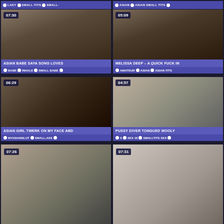[Figure (screenshot): Video thumbnail grid page showing adult video thumbnails with titles, durations, and tags]
LADY SMALL-TITS SMALL- | ASIAN ASIAN SMALL TITS
07:30 ASIAN BABE SAYA SONG LOVES | BABE INHALE SMALL BABE
05:09 MELISSA DEEP - A QUICK FUCK IN | AMATEUR ASIAN ASIAN-TITS
06:29 ASIAN GIRL TWERK ON MY FACE ABD | MYASIANSLUT SMALL;ASS
04:57 PUSSY DIVER TONGUED WOOLY | S SEX 18 SMALLTITS SEX
07:26 (bottom left thumbnail)
07:31 (bottom right thumbnail)